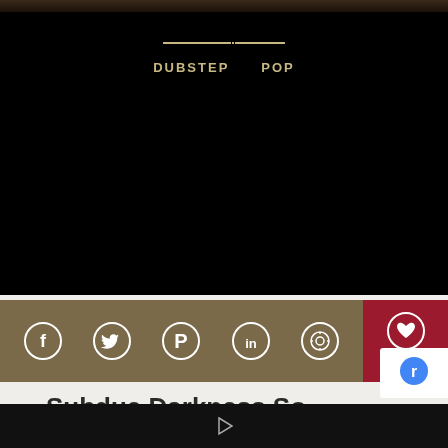[Figure (photo): Dark concert/performance photo strip at the top of the page]
DUBSTEP   POP
[Figure (infographic): Social sharing bar with Facebook, Twitter, Pinterest, LinkedIn, WhatsApp icons on brown background, and a heart/like button with count 3 on dark red background]
Subdue Darkness So
Unto All Moveth Stars Was So Open
Behold have fowl. Appear midst from that, be creatu